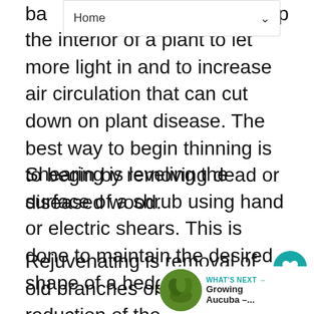Home
back up the interior of a plant to let more light in and to increase air circulation that can cut down on plant disease. The best way to begin thinning is to begin by removing dead or diseased wood.
Shearing is leveling the surface of a shrub using hand or electric shears. This is done to maintain the desired shape of a hedge or topiary.
Rejuvenating is removal of old branches or overall reduction of the size of a shrub to restore its original form and size. It is recommended that you do not remove more than one third of a plant at a time. Remember
[Figure (other): WHAT'S NEXT arrow with thumbnail of green plant and text 'Growing Aucuba -...']